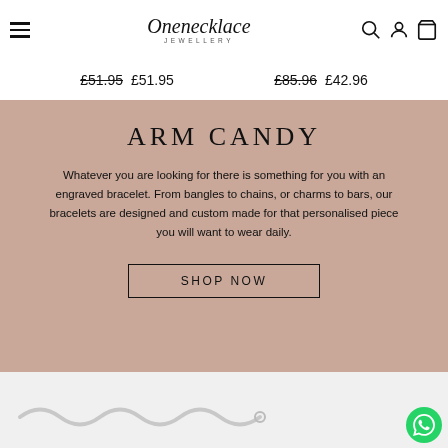Onenecklace Jewellery — navigation bar with hamburger menu, logo, search, account, and cart icons
£51.95  £51.95    £85.96  £42.96
ARM CANDY
Whatever you are looking for there is something for you with an engraved bracelet. From bangles to chains, or charms to bars, our bracelets are designed and custom made for that personalised piece you will want to wear daily.
SHOP NOW
[Figure (photo): Bottom portion showing a silver chain bracelet on white background, with WhatsApp chat button in lower right corner]